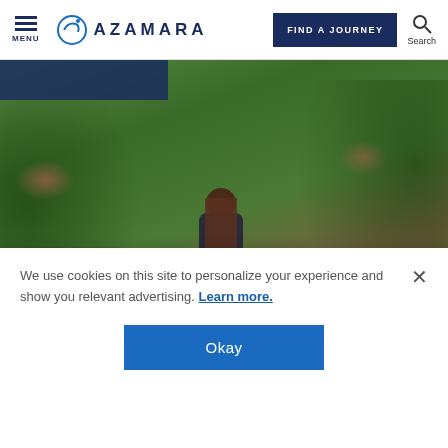MENU | AZAMARA | FIND A JOURNEY | Search
[Figure (photo): Mediterranean scene with water/canal at top and lush green foliage with pink flowering plants. A woman with brown hair is seen from behind standing among the plants. Blue rectangle partially visible at top left.]
GUEST POSTS
Exploring the Mediterranean Through Dame Traveler's Lens
A blog from Anastasia Amour, partnered with Azamara®, exploring the
We use cookies on this site to personalize your experience and show you relevant advertising. Learn more.
Okay